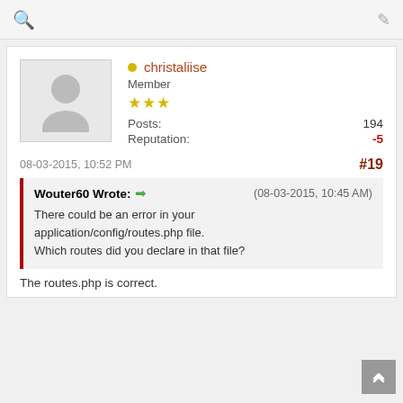🔍  ✏
christaliise
Member
★★★
Posts: 194
Reputation: -5
08-03-2015, 10:52 PM  #19
Wouter60 Wrote: → (08-03-2015, 10:45 AM)
There could be an error in your application/config/routes.php file.
Which routes did you declare in that file?
The routes.php is correct.